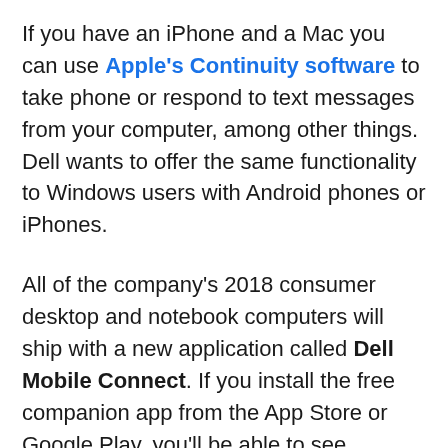If you have an iPhone and a Mac you can use Apple's Continuity software to take phone or respond to text messages from your computer, among other things. Dell wants to offer the same functionality to Windows users with Android phones or iPhones.
All of the company's 2018 consumer desktop and notebook computers will ship with a new application called Dell Mobile Connect. If you install the free companion app from the App Store or Google Play, you'll be able to see notifications from your phone on your Dell PC, respond to text messages, take calls, and more.